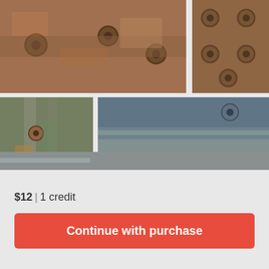[Figure (photo): Close-up photo of rusty riveted metal surface, brownish-orange rust texture with round rivets, top-left of grid]
[Figure (photo): Close-up photo of rusty riveted metal panel with round bolts, brownish texture, top-right of grid]
[Figure (photo): Close-up photo of rusty metal hinge or bracket with multiple rivets and patina of green and brown rust, mid-left]
[Figure (photo): Close-up photo of rusty metal plates with rivets and weathered teal/gray paint, mid-right]
Unsplash  Welcome to iStock: Save 20% with code UNSPLASH20
$12 | 1 credit
Continue with purchase